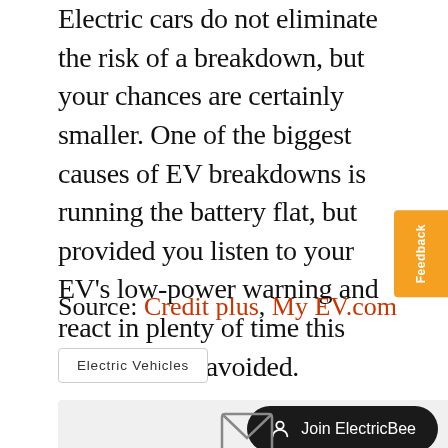Electric cars do not eliminate the risk of a breakdown, but your chances are certainly smaller. One of the biggest causes of EV breakdowns is running the battery flat, but provided you listen to your EV's low-power warning and react in plenty of time this can be easily avoided.
Source: Credit plus, My EV.com
Electric Vehicles
[Figure (other): Join ElectricBee button and email envelope icon UI elements]